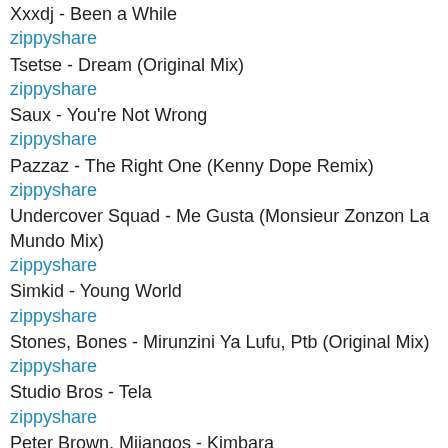Xxxdj - Been a While
zippyshare
Tsetse - Dream (Original Mix)
zippyshare
Saux - You're Not Wrong
zippyshare
Pazzaz - The Right One (Kenny Dope Remix)
zippyshare
Undercover Squad - Me Gusta (Monsieur Zonzon La Mundo Mix)
zippyshare
Simkid - Young World
zippyshare
Stones, Bones - Mirunzini Ya Lufu, Ptb (Original Mix)
zippyshare
Studio Bros - Tela
zippyshare
Peter Brown, Mijangos - Kimbara
zippyshare
Techno Mama - Summer Season (Lel Dub Remix)
zippyshare
Rocco Rodamaal - Treat Her Like a Lady (Back to the Old